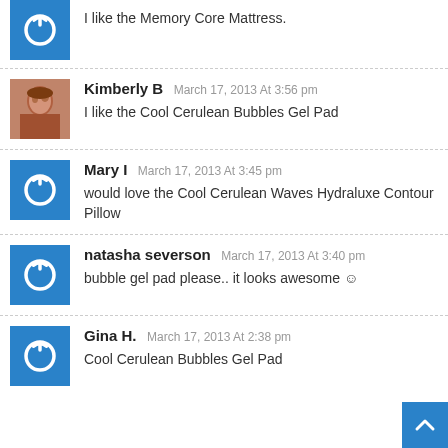I like the Memory Core Mattress.
Kimberly B — March 17, 2013 At 3:56 pm — I like the Cool Cerulean Bubbles Gel Pad
Mary I — March 17, 2013 At 3:45 pm — would love the Cool Cerulean Waves Hydraluxe Contour Pillow
natasha severson — March 17, 2013 At 3:40 pm — bubble gel pad please.. it looks awesome 🙂
Gina H. — March 17, 2013 At 2:38 pm — Cool Cerulean Bubbles Gel Pad